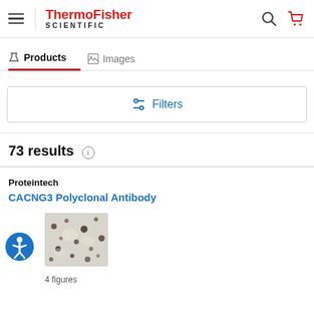[Figure (screenshot): ThermoFisher Scientific website header with hamburger menu, logo, search icon, and cart icon]
Products | Images (tabs)
Filters button
73 results
Proteintech
CACNG3 Polyclonal Antibody
[Figure (photo): Microscopy image of CACNG3 Polyclonal Antibody staining, showing dark brown spots on light background]
4 figures